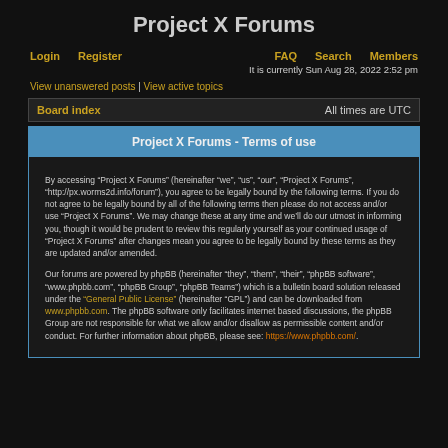Project X Forums
Login | Register | FAQ | Search | Members
It is currently Sun Aug 28, 2022 2:52 pm
View unanswered posts | View active topics
Board index   All times are UTC
Project X Forums - Terms of use
By accessing “Project X Forums” (hereinafter “we”, “us”, “our”, “Project X Forums”, “http://px.worms2d.info/forum”), you agree to be legally bound by the following terms. If you do not agree to be legally bound by all of the following terms then please do not access and/or use “Project X Forums”. We may change these at any time and we’ll do our utmost in informing you, though it would be prudent to review this regularly yourself as your continued usage of “Project X Forums” after changes mean you agree to be legally bound by these terms as they are updated and/or amended.

Our forums are powered by phpBB (hereinafter “they”, “them”, “their”, “phpBB software”, “www.phpbb.com”, “phpBB Group”, “phpBB Teams”) which is a bulletin board solution released under the “General Public License” (hereinafter “GPL”) and can be downloaded from www.phpbb.com. The phpBB software only facilitates internet based discussions, the phpBB Group are not responsible for what we allow and/or disallow as permissible content and/or conduct. For further information about phpBB, please see: https://www.phpbb.com/.